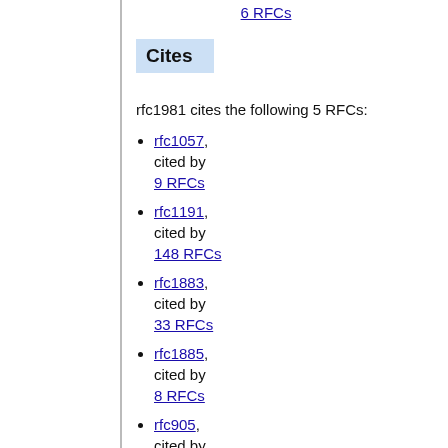6 RFCs
Cites
rfc1981 cites the following 5 RFCs:
rfc1057, cited by 9 RFCs
rfc1191, cited by 148 RFCs
rfc1883, cited by 33 RFCs
rfc1885, cited by 8 RFCs
rfc905, cited by 16 RFCs